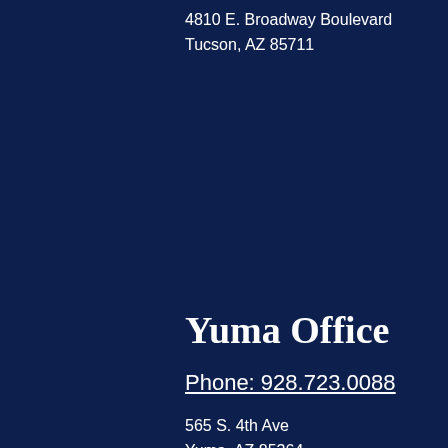4810 E. Broadway Boulevard
Tucson, AZ 85711
Yuma Office
Phone: 928.723.0088
565 S. 4th Ave
Yuma, AZ 85364